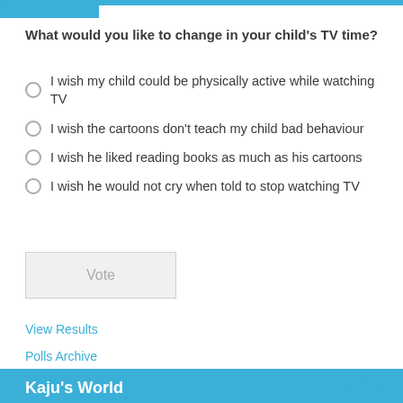What would you like to change in your child's TV time?
I wish my child could be physically active while watching TV
I wish the cartoons don't teach my child bad behaviour
I wish he liked reading books as much as his cartoons
I wish he would not cry when told to stop watching TV
Vote
View Results
Polls Archive
Kaju's World